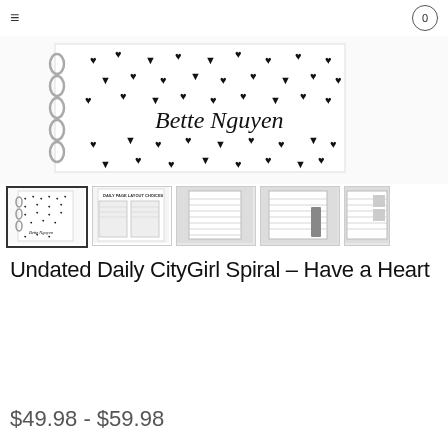[Figure (screenshot): CityGirl Planners website product page showing a spiral planner with heart pattern cover personalized with 'Bette Nguyen', navigation bar with hamburger menu and cart, product thumbnail images, product title and price.]
Undated Daily CityGirl Spiral – Have a Heart
$49.98 - $59.98